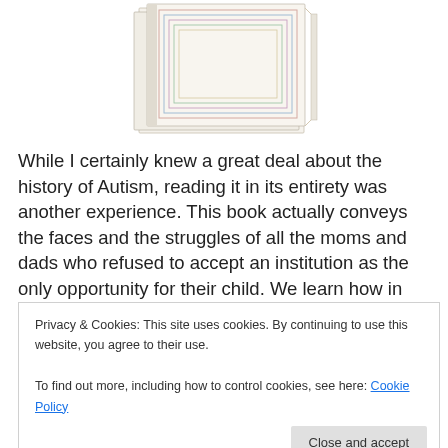[Figure (photo): Book cover image showing stacked pages with colorful geometric line borders]
While I certainly knew a great deal about the history of Autism, reading it in its entirety was another experience. This book actually conveys the faces and the struggles of all the moms and dads who refused to accept an institution as the only opportunity for their child. We learn how in the 1950s, the medical community blamed
Privacy & Cookies: This site uses cookies. By continuing to use this website, you agree to their use.
To find out more, including how to control cookies, see here: Cookie Policy
attributed to the determination and persistence of these